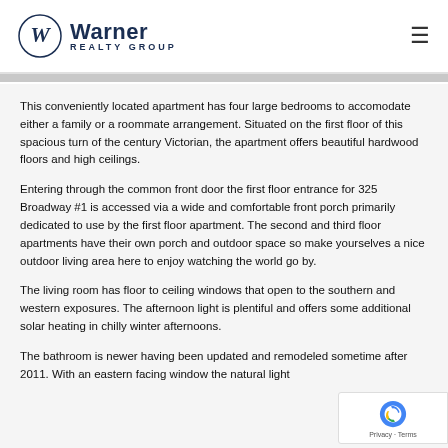Warner Realty Group
This conveniently located apartment has four large bedrooms to accomodate either a family or a roommate arrangement. Situated on the first floor of this spacious turn of the century Victorian, the apartment offers beautiful hardwood floors and high ceilings.
Entering through the common front door the first floor entrance for 325 Broadway #1 is accessed via a wide and comfortable front porch primarily dedicated to use by the first floor apartment. The second and third floor apartments have their own porch and outdoor space so make yourselves a nice outdoor living area here to enjoy watching the world go by.
The living room has floor to ceiling windows that open to the southern and western exposures. The afternoon light is plentiful and offers some additional solar heating in chilly winter afternoons.
The bathroom is newer having been updated and remodeled sometime after 2011. With an eastern facing window the natural light...